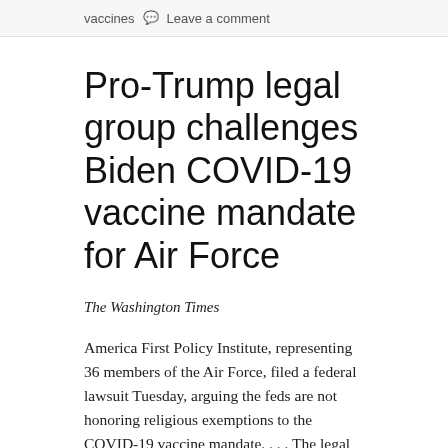vaccines   Leave a comment
Pro-Trump legal group challenges Biden COVID-19 vaccine mandate for Air Force
The Washington Times
America First Policy Institute, representing 36 members of the Air Force, filed a federal lawsuit Tuesday, arguing the feds are not honoring religious exemptions to the COVID-19 vaccine mandate. . . . The legal group claims the service members' First Amendment rights are being violated and asked the court to block the mandate and rule it unconstitutional